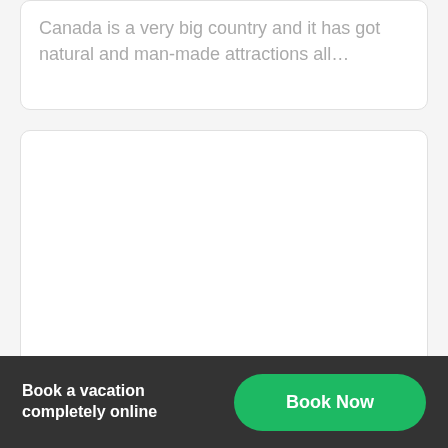Canada is a very big country and it has got natural and man-made attractions all…
[Figure (other): Empty white card/content placeholder box]
Book a vacation completely online | Book Now